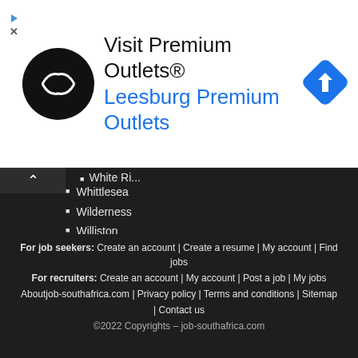[Figure (logo): Visit Premium Outlets advertisement banner with black circular logo with double arrow symbol, large blue navigation diamond icon, text 'Visit Premium Outlets®' and 'Leesburg Premium Outlets' in blue]
Whittlesea
Wilderness
Williston
Winburg
Winkelspruit
Winterton
Witbank
Wolmaransstad
Worcester
York
Yzerfontein
Zastron
Zeerust
Zwelitsha
For job seekers: Create an account | Create a resume | My account | Find jobs
For recruiters: Create an account | My account | Post a job | My jobs
Aboutjob-southafrica.com | Privacy policy | Terms and conditions | Sitemap | Contact us
©2022 Copyrights – job-southafrica.com